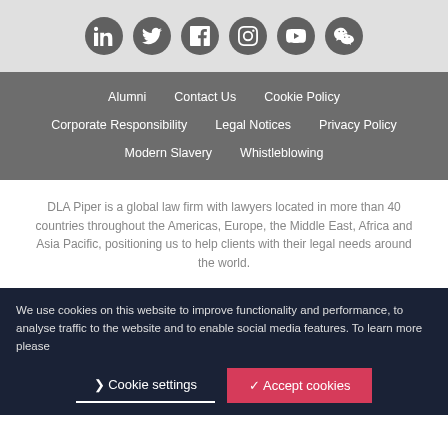[Figure (other): Social media icons row: LinkedIn, Twitter, Facebook, Instagram, YouTube, WeChat on light grey background]
Alumni
Contact Us
Cookie Policy
Corporate Responsibility
Legal Notices
Privacy Policy
Modern Slavery
Whistleblowing
DLA Piper is a global law firm with lawyers located in more than 40 countries throughout the Americas, Europe, the Middle East, Africa and Asia Pacific, positioning us to help clients with their legal needs around the world.
We use cookies on this website to improve functionality and performance, to analyse traffic to the website and to enable social media features. To learn more please
Cookie settings
Accept cookies